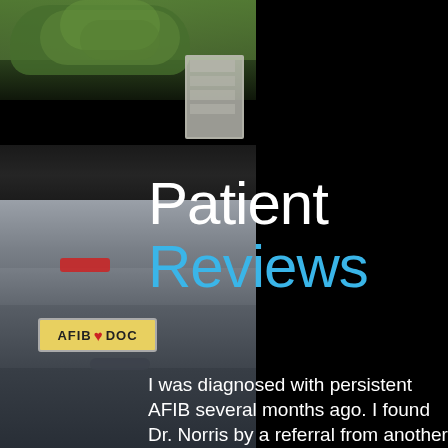[Figure (photo): Background photo showing a car from behind with a license plate reading 'AFIB DOC' and outdoor trees/scenery visible in the upper portion]
Patient Reviews
I was diagnosed with persistent AFIB several months ago. I found Dr. Norris by a referral from another physician. Dr. Norris scheduled me for a cardiac ablation without delay. He thoroughly explained the procedure, risks and benefits prior